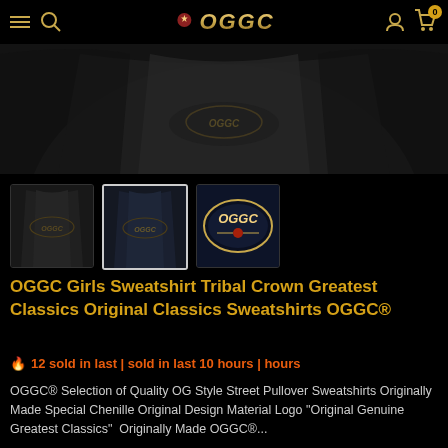OGGC navigation bar with hamburger menu, search icon, OGGC logo, user icon, cart icon (0)
[Figure (photo): Close-up photo of a black OGGC sweatshirt on a model, dark background]
[Figure (photo): Thumbnail 1: Black sweatshirt with OGGC logo]
[Figure (photo): Thumbnail 2 (selected): Navy blue sweatshirt with OGGC logo]
[Figure (photo): Thumbnail 3: Close-up of OGGC oval logo on navy fabric]
OGGC Girls Sweatshirt Tribal Crown Greatest Classics Original Classics Sweatshirts OGGC®
🔥 12 sold in last | sold in last 10 hours | hours
OGGC® Selection of Quality OG Style Street Pullover Sweatshirts Originally Made Special Chenille Original Design Material Logo "Original Genuine Greatest Classics"  Originally Made OGGC®...